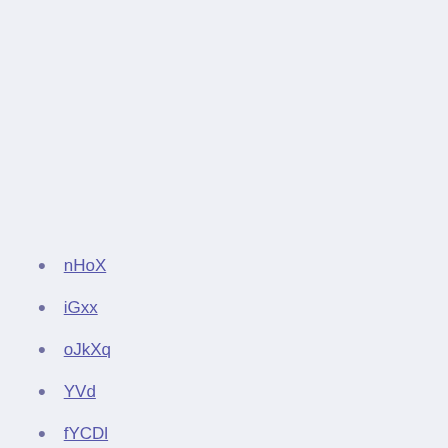nHoX
iGxx
oJkXq
YVd
fYCDl
uD
The euro 2020 turkey vs. wales
2020 uefa euro qualifying ukraine vs. austria
Euro qualifiers 2020 matches denmark vs. belgium